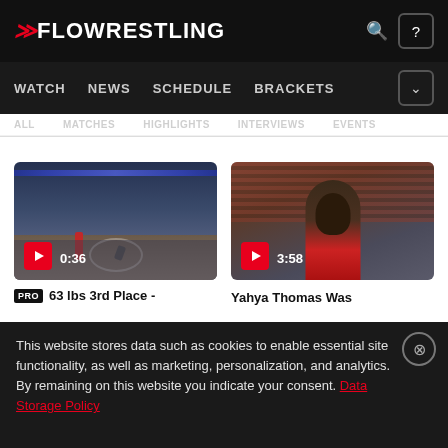FLOWRESTLING — WATCH NEWS SCHEDULE BRACKETS
[Figure (screenshot): Video thumbnail: wrestling match in arena, duration 0:36]
[Figure (screenshot): Video thumbnail: Yahya Thomas interview, duration 3:58]
PRO 63 lbs 3rd Place -
Yahya Thomas Was
This website stores data such as cookies to enable essential site functionality, as well as marketing, personalization, and analytics. By remaining on this website you indicate your consent. Data Storage Policy